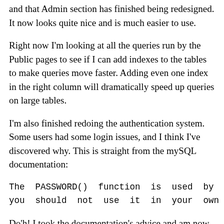and that Admin section has finished being redesigned. It now looks quite nice and is much easier to use.
Right now I'm looking at all the queries run by the Public pages to see if I can add indexes to the tables to make queries move faster. Adding even one index in the right column will dramatically speed up queries on large tables.
I'm also finished redoing the authentication system. Some users had some login issues, and I think I've discovered why. This is straight from the mySQL documentation:
The PASSWORD() function is used by the a
you should not use it in your own applic
Do'h! I took the documentation's advice and am now